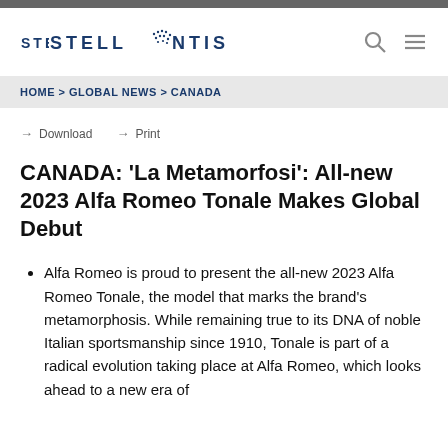Stellantis
HOME > GLOBAL NEWS > CANADA
→ Download  → Print
CANADA: 'La Metamorfosi': All-new 2023 Alfa Romeo Tonale Makes Global Debut
Alfa Romeo is proud to present the all-new 2023 Alfa Romeo Tonale, the model that marks the brand's metamorphosis. While remaining true to its DNA of noble Italian sportsmanship since 1910, Tonale is part of a radical evolution taking place at Alfa Romeo, which looks ahead to a new era of